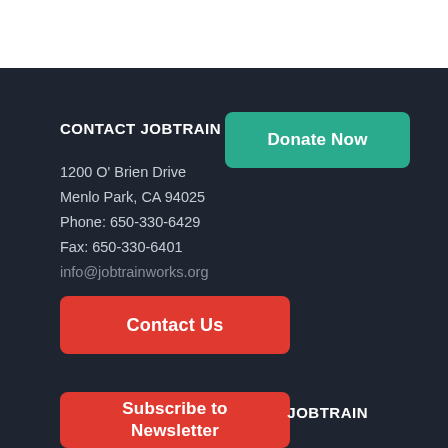CONTACT JOBTRAIN
1200 O' Brien Drive
Menlo Park, CA 94025
Phone: 650-330-6429
Fax: 650-330-6401
info@jobtrainworks.org
[Figure (other): Teal 'Donate Now' button]
[Figure (other): Red 'Contact Us' button]
[Figure (other): Red 'Subscribe to Newsletter' button]
JOBTRAIN